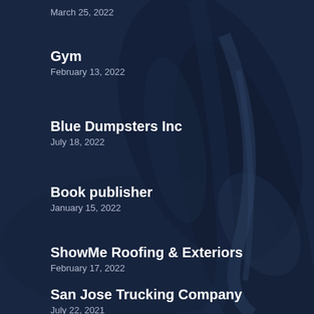March 25, 2022
Gym
February 13, 2022
Blue Dumpsters Inc
July 18, 2022
Book publisher
January 15, 2022
ShowMe Roofing & Exteriors
February 17, 2022
San Jose Trucking Company
July 22, 2021